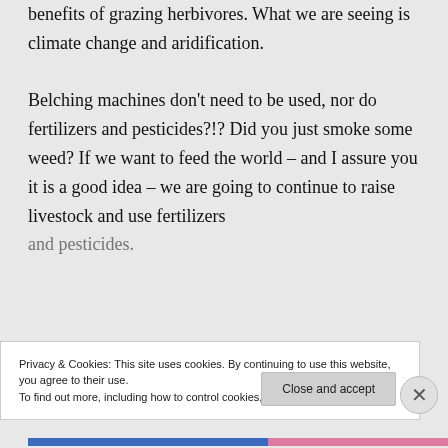benefits of grazing herbivores. What we are seeing is climate change and aridification.

Belching machines don't need to be used, nor do fertilizers and pesticides?!? Did you just smoke some weed? If we want to feed the world – and I assure you it is a good idea – we are going to continue to raise livestock and use fertilizers and pesticides.
Privacy & Cookies: This site uses cookies. By continuing to use this website, you agree to their use.
To find out more, including how to control cookies, see here: Cookie Policy